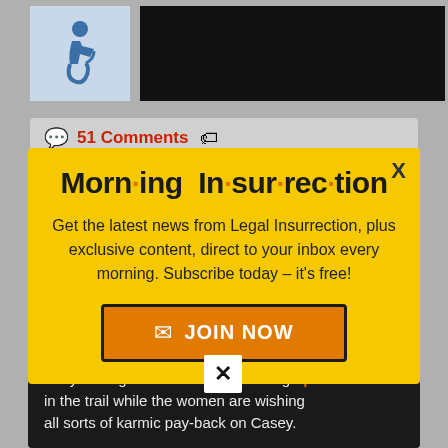[Figure (screenshot): Webpage screenshot showing a comment count bar reading '51 Comments' with a speech bubble icon and tag icon, with a yellow modal popup overlay titled 'Morning Insurrection' offering newsletter subscription, a JOIN NOW button, and background dark article text about Casey.]
51 Comments
Morn·ing In·sur·rec·tion
Get the latest news from Legal Insurrection, plus exclusive content, direct to your inbox every morning. Subscribe today – it's free!
JOIN NOW
to try and figure out what went wrong in the trail while the women are wishing all sorts of karmic pay-back on Casey.